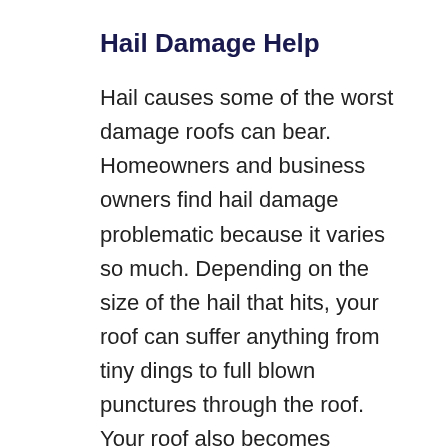Hail Damage Help
Hail causes some of the worst damage roofs can bear. Homeowners and business owners find hail damage problematic because it varies so much. Depending on the size of the hail that hits, your roof can suffer anything from tiny dings to full blown punctures through the roof. Your roof also becomes vulnerable to hidden damage that might not appear for months. Whatever kind of damage hail has caused, we provide full-service roof hail damage repair in Fort